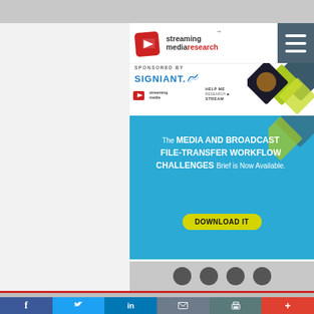[Figure (screenshot): Streaming Media Research website screenshot showing a banner ad with the Streaming Media Research logo, hamburger menu, sponsored by Signiant and Streaming Media logos, diamond graphic decorations, blue promotional section with text 'The MEDIA AND BROADCAST FILE-TRANSFER WORKFLOW CHALLENGES Brief is Now Available.' and a yellow DOWNLOAD IT button, and a social sharing bar at the bottom with circular icons.]
[Figure (screenshot): Bottom social share toolbar with Facebook (blue), Twitter (light blue), LinkedIn (blue), email (gray), print (teal), and plus/more (orange-red) buttons.]